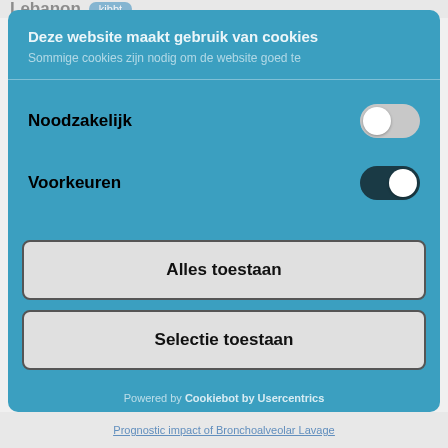Lebanon
Deze website maakt gebruik van cookies
Sommige cookies zijn nodig om de website goed te
Noodzakelijk
Voorkeuren
Alles toestaan
Selectie toestaan
Powered by Cookiebot by Usercentrics
Prognostic impact of Bronchoalveolar Lavage